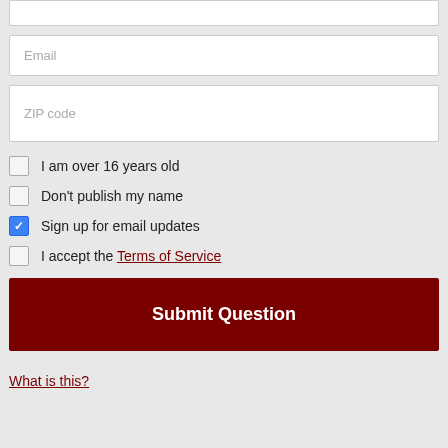Email (input field placeholder)
ZIP code (input field placeholder)
I am over 16 years old (unchecked)
Don't publish my name (unchecked)
Sign up for email updates (checked)
I accept the Terms of Service (unchecked)
Submit Question
What is this?